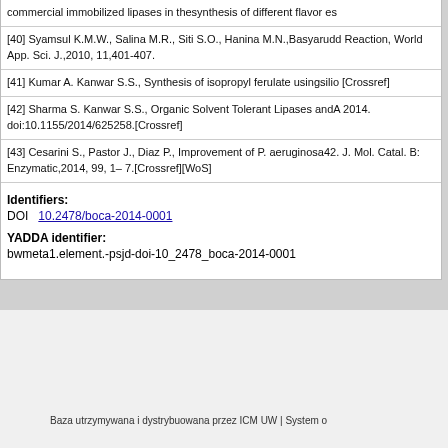commercial immobilized lipases in thesynthesis of different flavor es
[40] Syamsul K.M.W., Salina M.R., Siti S.O., Hanina M.N.,Basyarudd Reaction, World App. Sci. J.,2010, 11,401-407.
[41] Kumar A. Kanwar S.S., Synthesis of isopropyl ferulate usingsilio [Crossref]
[42] Sharma S. Kanwar S.S., Organic Solvent Tolerant Lipases andA 2014. doi:10.1155/2014/625258.[Crossref]
[43] Cesarini S., Pastor J., Diaz P., Improvement of P. aeruginosa42. J. Mol. Catal. B: Enzymatic,2014, 99, 1– 7.[Crossref][WoS]
Identifiers:
DOI   10.2478/boca-2014-0001
YADDA identifier:
bwmeta1.element.-psjd-doi-10_2478_boca-2014-0001
[Figure (logo): ICM UW logo with orbital design and UNIWERSYTET WARSZAWSKI, Interdyscyplinarne Centrum Modelowania Matematycznego i Komputerowego text]
Baza utrzymywana i dystrybuowana przez ICM UW | System o